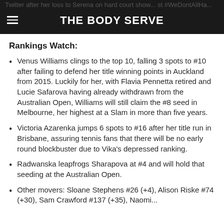Twitter after her loss to Serena on hard court show... st #WeDontAllHa... | THE BODY SERVE
Rankings Watch:
Venus Williams clings to the top 10, falling 3 spots to #10 after failing to defend her title winning points in Auckland from 2015. Luckily for her, with Flavia Pennetta retired and Lucie Safarova having already withdrawn from the Australian Open, Williams will still claim the #8 seed in Melbourne, her highest at a Slam in more than five years.
Victoria Azarenka jumps 6 spots to #16 after her title run in Brisbane, assuring tennis fans that there will be no early round blockbuster due to Vika's depressed ranking.
Radwanska leapfrogs Sharapova at #4 and will hold that seeding at the Australian Open.
Other movers: Sloane Stephens #26 (+4), Alison Riske #74 (+30), Sam Crawford #137 (+35), Naomi...